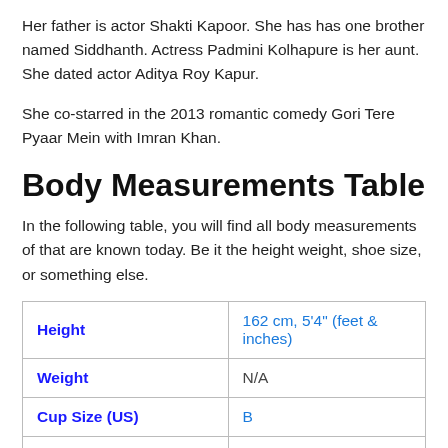Her father is actor Shakti Kapoor. She has has one brother named Siddhanth. Actress Padmini Kolhapure is her aunt. She dated actor Aditya Roy Kapur.
She co-starred in the 2013 romantic comedy Gori Tere Pyaar Mein with Imran Khan.
Body Measurements Table
In the following table, you will find all body measurements of that are known today. Be it the height weight, shoe size, or something else.
| Height | 162 cm, 5'4" (feet & inches) |
| --- | --- |
| Weight | N/A |
| Cup Size (US) | B |
| Shoe Size (US) | N/A |
| Body Shape | N/A |